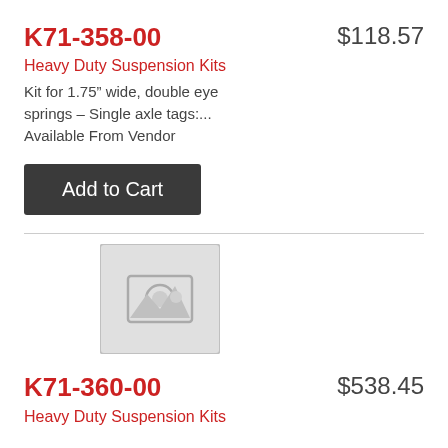K71-358-00
$118.57
Heavy Duty Suspension Kits
Kit for 1.75" wide, double eye springs – Single axle tags:... Available From Vendor
Add to Cart
[Figure (illustration): Placeholder image with camera/mountain icon indicating no product image available]
K71-360-00
$538.45
Heavy Duty Suspension Kits